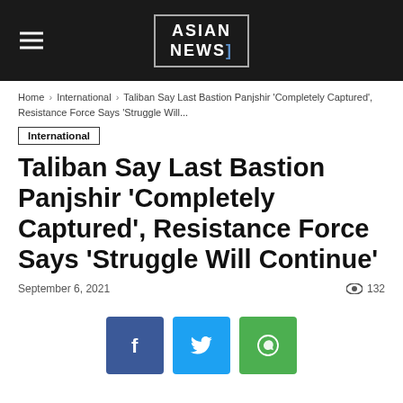Asian News
Home › International › Taliban Say Last Bastion Panjshir 'Completely Captured', Resistance Force Says 'Struggle Will...
International
Taliban Say Last Bastion Panjshir 'Completely Captured', Resistance Force Says 'Struggle Will Continue'
September 6, 2021   132
[Figure (infographic): Social share buttons: Facebook (blue), Twitter (light blue), WhatsApp (green)]